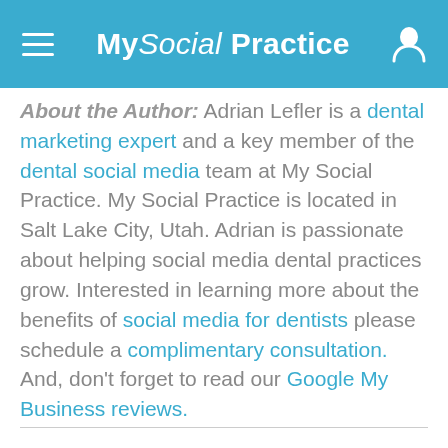My Social Practice
About the Author: Adrian Lefler is a dental marketing expert and a key member of the dental social media team at My Social Practice. My Social Practice is located in Salt Lake City, Utah. Adrian is passionate about helping social media dental practices grow. Interested in learning more about the benefits of social media for dentists please schedule a complimentary consultation. And, don't forget to read our Google My Business reviews.